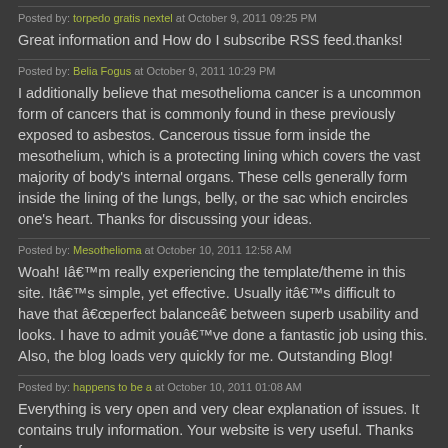Posted by: torpedo gratis nextel at October 9, 2011 09:25 PM
Great information and How do I subscribe RSS feed.thanks!
Posted by: Belia Fogus at October 9, 2011 10:29 PM
I additionally believe that mesothelioma cancer is a uncommon form of cancers that is commonly found in these previously exposed to asbestos. Cancerous tissue form inside the mesothelium, which is a protecting lining which covers the vast majority of body's internal organs. These cells generally form inside the lining of the lungs, belly, or the sac which encircles one's heart. Thanks for discussing your ideas.
Posted by: Mesothelioma at October 10, 2011 12:58 AM
Woah! Iâ€™m really experiencing the template/theme in this site. Itâ€™s simple, yet effective. Usually itâ€™s difficult to have that â€œperfect balanceâ€ between superb usability and looks. I have to admit youâ€™ve done a fantastic job using this. Also, the blog loads very quickly for me. Outstanding Blog!
Posted by: happens to be a at October 10, 2011 01:08 AM
Everything is very open and very clear explanation of issues. It contains truly information. Your website is very useful. Thanks for